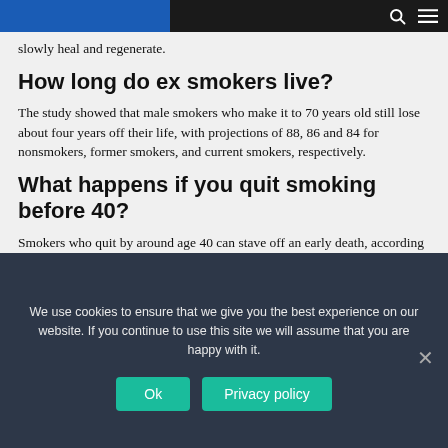slowly heal and regenerate.
How long do ex smokers live?
The study showed that male smokers who make it to 70 years old still lose about four years off their life, with projections of 88, 86 and 84 for nonsmokers, former smokers, and current smokers, respectively.
What happens if you quit smoking before 40?
Smokers who quit by around age 40 can stave off an early death, according to a landmark study that fills key gaps in knowledge of
We use cookies to ensure that we give you the best experience on our website. If you continue to use this site we will assume that you are happy with it.